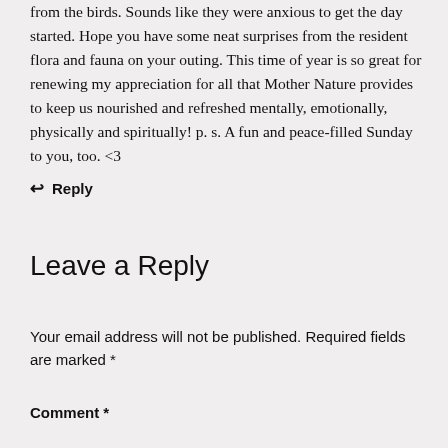from the birds. Sounds like they were anxious to get the day started. Hope you have some neat surprises from the resident flora and fauna on your outing. This time of year is so great for renewing my appreciation for all that Mother Nature provides to keep us nourished and refreshed mentally, emotionally, physically and spiritually! p. s. A fun and peace-filled Sunday to you, too. <3
↩ Reply
Leave a Reply
Your email address will not be published. Required fields are marked *
Comment *